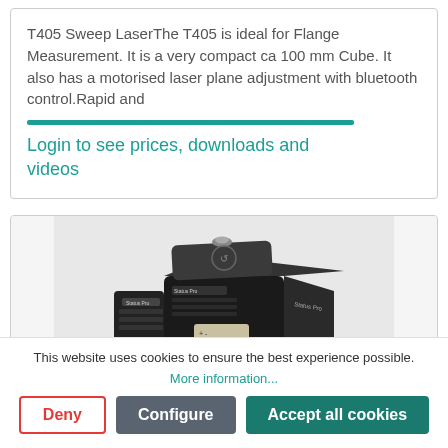T405 Sweep LaserThe T405 is ideal for Flange Measurement. It is a very compact ca 100 mm Cube. It also has a motorised laser plane adjustment with bluetooth control.Rapid and
Login to see prices, downloads and videos
[Figure (photo): Photo of a T410 sweep laser device, a compact black multi-sided cube instrument with Status Pro branding, showing control panels with buttons and connectors, and a flat antenna/sensor on top.]
This website uses cookies to ensure the best experience possible.
More information...
Deny
Configure
Accept all cookies